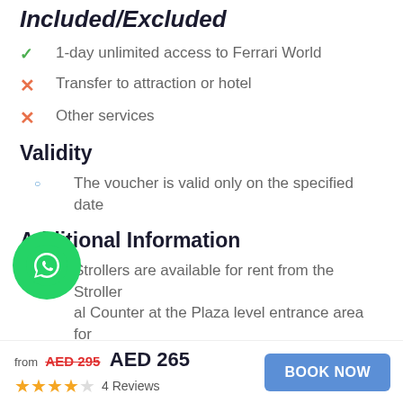Included/Excluded
1-day unlimited access to Ferrari World
Transfer to attraction or hotel
Other services
Validity
The voucher is valid only on the specified date
Additional Information
Strollers are available for rent from the Stroller al Counter at the Plaza level entrance area for
Any guests out of Abu Dhabi is required to provide
from AED 295 AED 265
4 Reviews